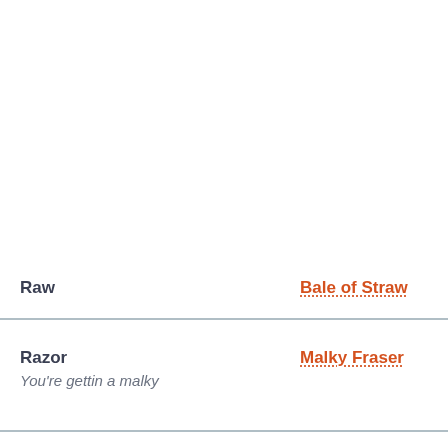Raw	Bale of Straw
Razor	Malky Fraser
You're gettin a malky